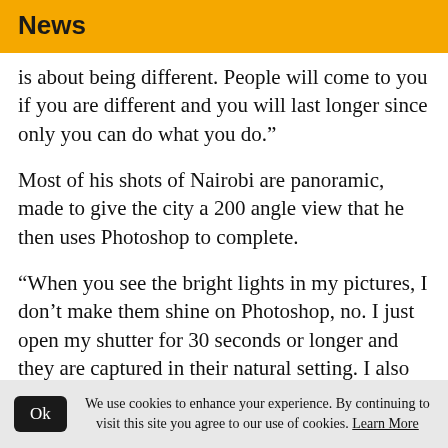News
is about being different. People will come to you if you are different and you will last longer since only you can do what you do.”
Most of his shots of Nairobi are panoramic, made to give the city a 200 angle view that he then uses Photoshop to complete.
“When you see the bright lights in my pictures, I don’t make them shine on Photoshop, no. I just open my shutter for 30 seconds or longer and they are captured in their natural setting. I also use filters to create effects,” he adds.
We use cookies to enhance your experience. By continuing to visit this site you agree to our use of cookies. Learn More